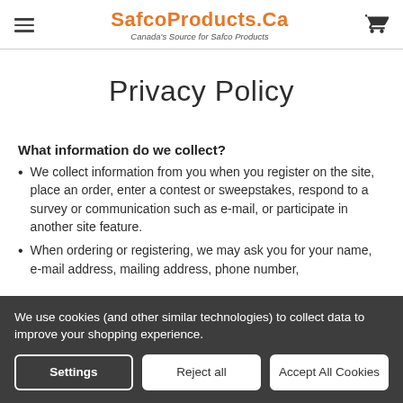SafcoProducts.Ca — Canada's Source for Safco Products
Privacy Policy
What information do we collect?
We collect information from you when you register on the site, place an order, enter a contest or sweepstakes, respond to a survey or communication such as e-mail, or participate in another site feature.
When ordering or registering, we may ask you for your name, e-mail address, mailing address, phone number,
We use cookies (and other similar technologies) to collect data to improve your shopping experience.
Settings | Reject all | Accept All Cookies